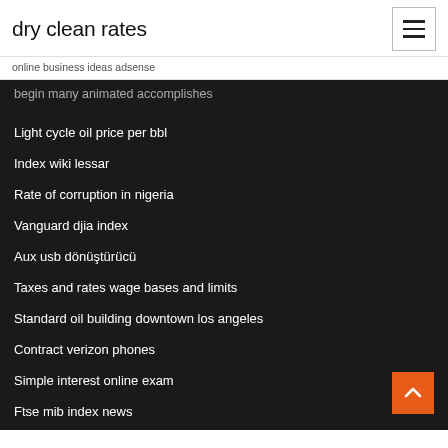dry clean rates
online business ideas adsense
begin many animated accomplishes
Light cycle oil price per bbl
Index wiki lessar
Rate of corruption in nigeria
Vanguard djia index
Aux usb dönüştürücü
Taxes and rates wage bases and limits
Standard oil building downtown los angeles
Contract verizon phones
Simple interest online exam
Ftse mib index news